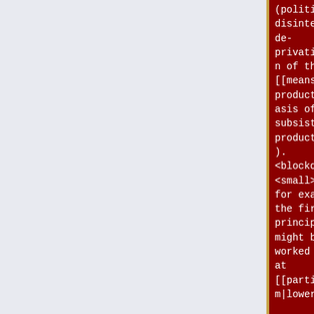(political disintermediation and de-privatisation of the [[means of production|basis of subsistence/production]]). <blockquote> <small> So for example the first principle might be worked out at [[participism|lower